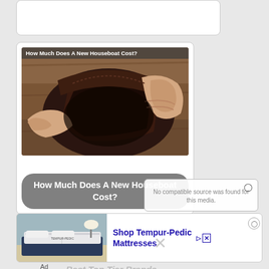[Figure (other): Partial white card visible at top of page]
[Figure (photo): Article card showing hands holding an empty open brown leather wallet, with overlay title 'How Much Does A New Houseboat Cost?' at top]
How Much Does A New Houseboat Cost?
No compatible source was found for this media.
[Figure (photo): Advertisement banner for Tempur-Pedic Mattresses showing a mattress on a bed frame in a room setting]
Shop Tempur-Pedic Mattresses
Ad
Best Top Tier Brands...